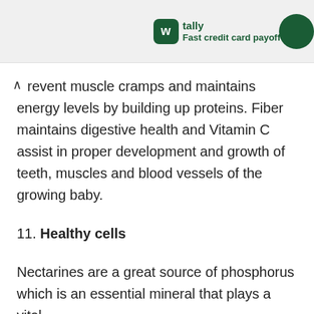[Figure (logo): Tally app logo with green icon and text 'tally Fast credit card payoff' on a light grey banner]
revent muscle cramps and maintains energy levels by building up proteins. Fiber maintains digestive health and Vitamin C assist in proper development and growth of teeth, muscles and blood vessels of the growing baby.
11. Healthy cells
Nectarines are a great source of phosphorus which is an essential mineral that plays a vital